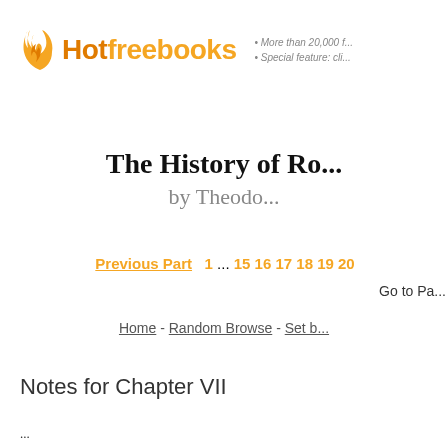Hotfreebooks • More than 20,000 f... • Special feature: cli...
The History of Ro... by Theodo...
Previous Part  1 ... 15 16 17 18 19 20  Go to Pa...
Home - Random Browse - Set b...
Notes for Chapter VII
...